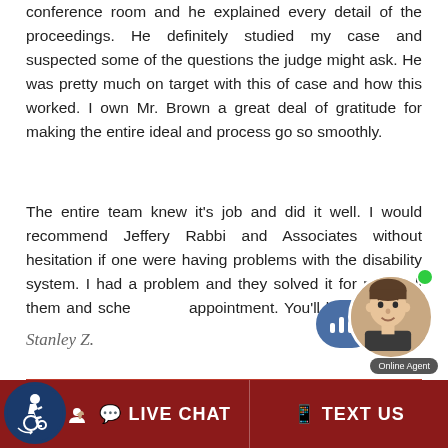conference room and he explained every detail of the proceedings. He definitely studied my case and suspected some of the questions the judge might ask. He was pretty much on target with this of case and how this worked. I own Mr. Brown a great deal of gratitude for making the entire ideal and process go so smoothly.
The entire team knew it's job and did it well. I would recommend Jeffery Rabbi and Associates without hesitation if one were having problems with the disability system. I had a problem and they solved it for me. Call them and schedule an appointment. You'll be happy you did.
Stanley Z.
[Figure (illustration): Chat widget with audio bars icon and online agent photo with green dot and 'Online Agent' label]
[Figure (logo): Accessibility icon - white wheelchair user in circle on dark blue background]
LIVE CHAT
TEXT US